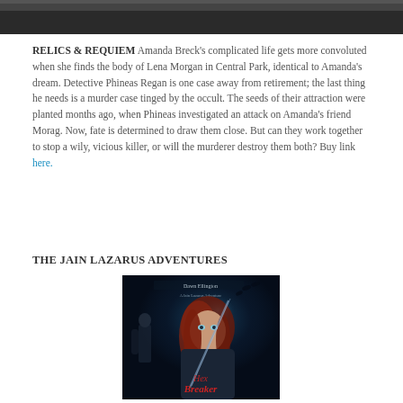[Figure (photo): Dark partial image at top of page, appears to be a book cover or background image in dark gray/black tones]
RELICS & REQUIEM Amanda Breck's complicated life gets more convoluted when she finds the body of Lena Morgan in Central Park, identical to Amanda's dream. Detective Phineas Regan is one case away from retirement; the last thing he needs is a murder case tinged by the occult. The seeds of their attraction were planted months ago, when Phineas investigated an attack on Amanda's friend Morag. Now, fate is determined to draw them close. But can they work together to stop a wily, vicious killer, or will the murderer destroy them both? Buy link here.
THE JAIN LAZARUS ADVENTURES
[Figure (photo): Book cover for 'Hex Breaker' - A Jain Lazarus Adventure by Dawn Ellington. Dark blue/teal background with a red-haired woman in foreground and a male figure to the left. Title text in stylized font at bottom.]